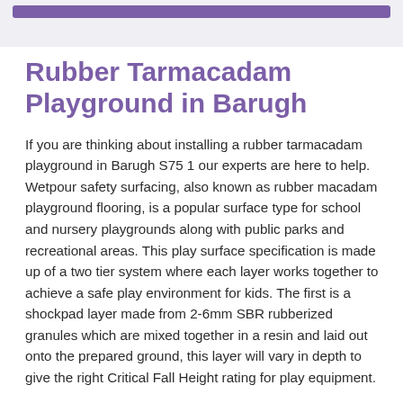[purple navigation bar]
Rubber Tarmacadam Playground in Barugh
If you are thinking about installing a rubber tarmacadam playground in Barugh S75 1 our experts are here to help. Wetpour safety surfacing, also known as rubber macadam playground flooring, is a popular surface type for school and nursery playgrounds along with public parks and recreational areas. This play surface specification is made up of a two tier system where each layer works together to achieve a safe play environment for kids. The first is a shockpad layer made from 2-6mm SBR rubberized granules which are mixed together in a resin and laid out onto the prepared ground, this layer will vary in depth to give the right Critical Fall Height rating for play equipment.
The top wearing course layer of a rubberised tarmacadam playground is made of 1-4mm EPDM rubber crumb mixed with a polyurethane resin and laid on top of the base shockpad layer. You